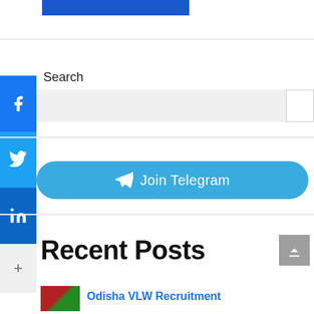[Figure (screenshot): Blue banner/logo bar at top]
[Figure (infographic): Social share sidebar with Facebook (blue), Twitter (light blue), LinkedIn (dark blue), and More (+) buttons]
Search
[Figure (screenshot): Search input bar with search button]
[Figure (infographic): Join Telegram button (light blue rounded rectangle with Telegram send icon)]
Recent Posts
[Figure (screenshot): Scroll to top button (grey square with up arrow)]
Odisha VLW Recruitment